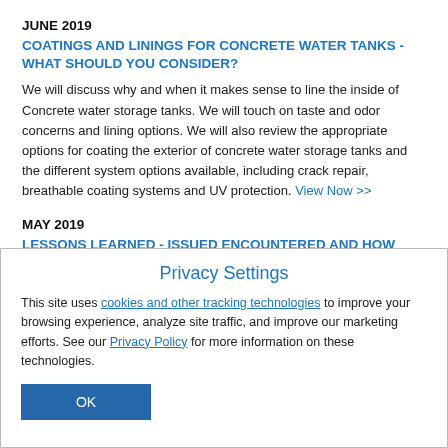JUNE 2019
COATINGS AND LININGS FOR CONCRETE WATER TANKS - WHAT SHOULD YOU CONSIDER?
We will discuss why and when it makes sense to line the inside of Concrete water storage tanks. We will touch on taste and odor concerns and lining options. We will also review the appropriate options for coating the exterior of concrete water storage tanks and the different system options available, including crack repair, breathable coating systems and UV protection. View Now >>
MAY 2019
LESSONS LEARNED - ISSUED ENCOUNTERED AND HOW THEY WERE OVERCOME
Privacy Settings
This site uses cookies and other tracking technologies to improve your browsing experience, analyze site traffic, and improve our marketing efforts. See our Privacy Policy for more information on these technologies.
OK